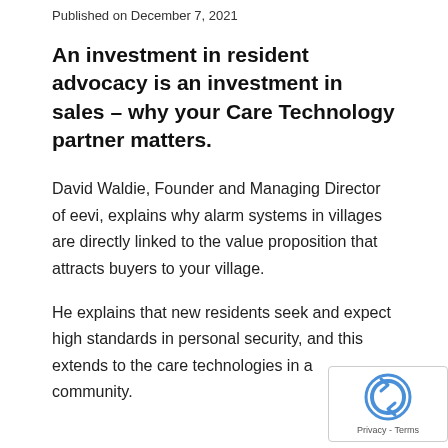Published on December 7, 2021
An investment in resident advocacy is an investment in sales – why your Care Technology partner matters.
David Waldie, Founder and Managing Director of eevi, explains why alarm systems in villages are directly linked to the value proposition that attracts buyers to your village.
He explains that new residents seek and expect high standards in personal security, and this extends to the care technologies in a community.